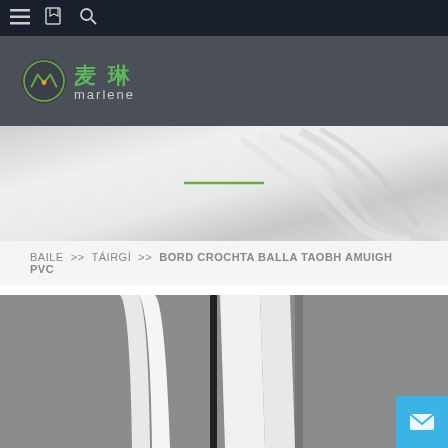Navigation bar with menu, bookmark, and search icons
[Figure (logo): Marlene company logo with Chinese characters 麦琳 and circular green icon with stylized roof/mountain shape]
[Figure (photo): White/gray abstract wavy silk or plastic material banner with a green horizontal line accent in the center]
BAILE >> TÁIRGÍ >> BORD CROCHTA BALLA TAOBH AMUIGH PVC
[Figure (photo): Close-up product photo showing PVC wall-hung board with white panel and dark accent against gray textured background]